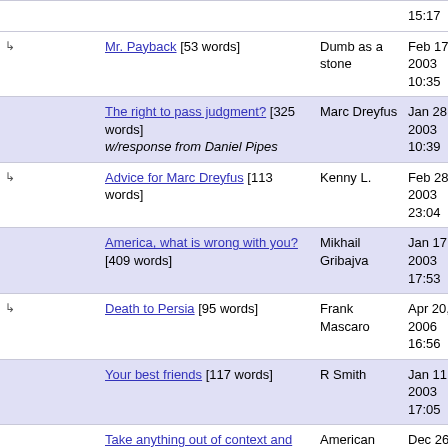|  | Title | Author | Date |
| --- | --- | --- | --- |
| ↳ | Mr. Payback [53 words] | Dumb as a stone | Feb 17, 2003 10:35 |
|  | The right to pass judgment? [325 words] w/response from Daniel Pipes | Marc Dreyfus | Jan 28, 2003 10:39 |
| ↳ | Advice for Marc Dreyfus [113 words] | Kenny L. | Feb 28, 2003 23:04 |
|  | America, what is wrong with you? [409 words] | Mikhail Gribajva | Jan 17, 2003 17:53 |
| ↳ | Death to Persia [95 words] | Frank Mascaro | Apr 20, 2006 16:56 |
|  | Your best friends [117 words] | R Smith | Jan 11, 2003 17:05 |
|  | Take anything out of context and you can make a point... | American Freedom | Dec 26 |